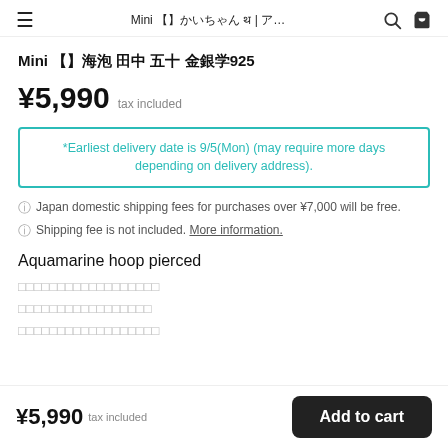Mini ▯▯▯▯▯▯ ▯▯▯ ▯▯▯ ▯▯▯▯▯925 | ▯...
Mini ▯▯▯▯▯▯ ▯▯▯ ▯▯▯ ▯▯▯▯▯925
¥5,990  tax included
*Earliest delivery date is 9/5(Mon) (may require more days depending on delivery address).
Japan domestic shipping fees for purchases over ¥7,000 will be free.
Shipping fee is not included. More information.
Aquamarine hoop pierced
▯▯▯▯▯▯▯▯▯▯▯▯▯▯▯▯▯▯
▯▯▯▯▯▯▯▯▯▯▯▯▯▯▯▯▯
▯▯▯▯▯▯▯▯▯▯▯▯▯▯▯▯▯▯
¥5,990  tax included   Add to cart